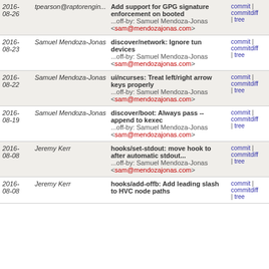| Date | Author | Commit Message | Links |
| --- | --- | --- | --- |
| 2016-08-26 | tpearson@raptorengin... | Add support for GPG signature enforcement on booted
...off-by: Samuel Mendoza-Jonas <sam@mendozajonas.com> | commit | commitdiff | tree |
| 2016-08-23 | Samuel Mendoza-Jonas | discover/network: Ignore tun devices
...off-by: Samuel Mendoza-Jonas <sam@mendozajonas.com> | commit | commitdiff | tree |
| 2016-08-22 | Samuel Mendoza-Jonas | ui/ncurses: Treat left/right arrow keys properly
...off-by: Samuel Mendoza-Jonas <sam@mendozajonas.com> | commit | commitdiff | tree |
| 2016-08-19 | Samuel Mendoza-Jonas | discover/boot: Always pass --append to kexec
...off-by: Samuel Mendoza-Jonas <sam@mendozajonas.com> | commit | commitdiff | tree |
| 2016-08-08 | Jeremy Kerr | hooks/set-stdout: move hook to after automatic stdout...
...off-by: Samuel Mendoza-Jonas <sam@mendozajonas.com> | commit | commitdiff | tree |
| 2016-08-08 | Jeremy Kerr | hooks/add-offb: Add leading slash to HVC node paths | commit | commitdiff | tree |